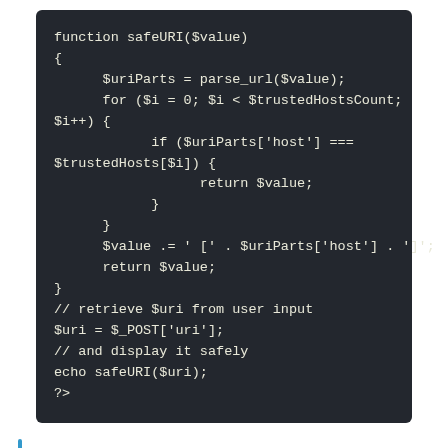[Figure (screenshot): Code block showing PHP function safeURI($value) with parse_url, for loop with trusted hosts check, return statements, and usage with $_POST and echo]
□□□□□□